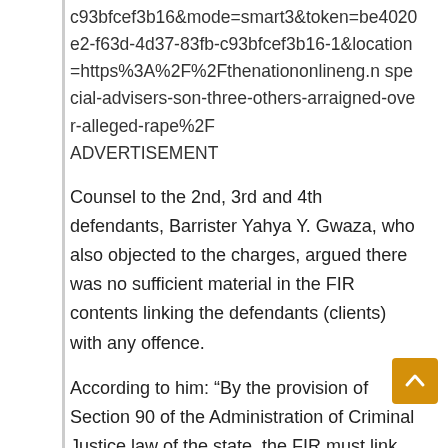c93bfcef3b16&mode=smart3&token=be4020e2-f63d-4d37-83fb-c93bfcef3b16-1&location=https%3A%2F%2Fthenationonlineng.n special-advisers-son-three-others-arraigned-over-alleged-rape%2F ADVERTISEMENT
Counsel to the 2nd, 3rd and 4th defendants, Barrister Yahya Y. Gwaza, who also objected to the charges, argued there was no sufficient material in the FIR contents linking the defendants (clients) with any offence.
According to him: “By the provision of Section 90 of the Administration of Criminal Justice law of the state, the FIR must link the defendants with any of the